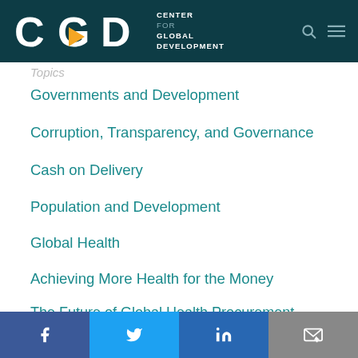Center for Global Development
Topics
Governments and Development
Corruption, Transparency, and Governance
Cash on Delivery
Population and Development
Global Health
Achieving More Health for the Money
The Future of Global Health Procurement
Global Health Policy Research Network
Facebook | Twitter | LinkedIn | Email